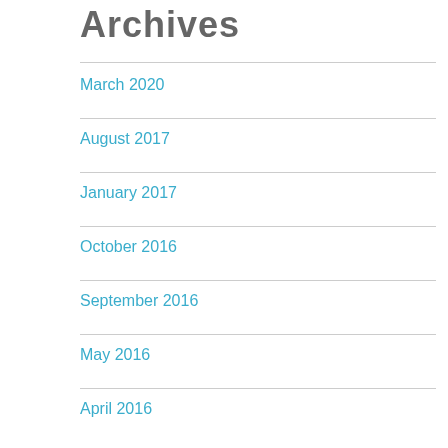Archives
March 2020
August 2017
January 2017
October 2016
September 2016
May 2016
April 2016
March 2016
February 2016
January 2016